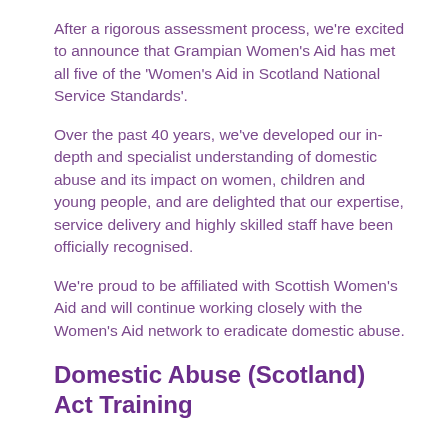After a rigorous assessment process, we're excited to announce that Grampian Women's Aid has met all five of the 'Women's Aid in Scotland National Service Standards'.
Over the past 40 years, we've developed our in-depth and specialist understanding of domestic abuse and its impact on women, children and young people, and are delighted that our expertise, service delivery and highly skilled staff have been officially recognised.
We're proud to be affiliated with Scottish Women's Aid and will continue working closely with the Women's Aid network to eradicate domestic abuse.
Domestic Abuse (Scotland) Act Training